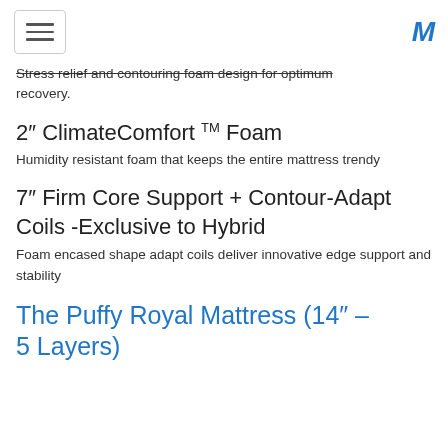[hamburger menu] [M logo]
Stress relief and contouring foam design for optimum recovery.
2″ ClimateComfort TM Foam
Humidity resistant foam that keeps the entire mattress trendy
7″ Firm Core Support + Contour-Adapt Coils -Exclusive to Hybrid
Foam encased shape adapt coils deliver innovative edge support and stability
The Puffy Royal Mattress (14″ – 5 Layers)